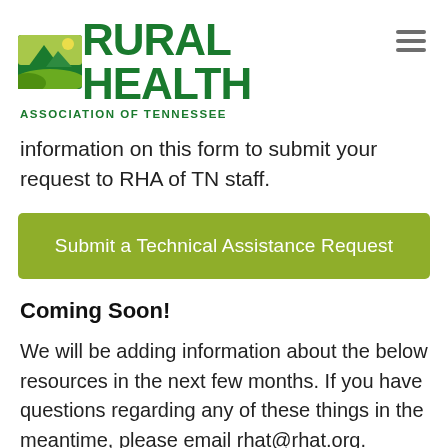[Figure (logo): Rural Health Association of Tennessee logo with green mountain/field icon and bold green text]
information on this form to submit your request to RHA of TN staff.
Submit a Technical Assistance Request
Coming Soon!
We will be adding information about the below resources in the next few months. If you have questions regarding any of these things in the meantime, please email rhat@rhat.org.